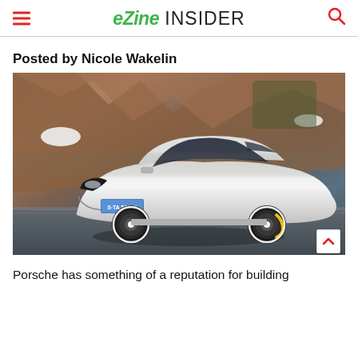eZine INSIDER
Posted by Nicole Wakelin
[Figure (photo): White Porsche Taycan electric sports car with license plate S TA 5130 E, driving on a mountain road with rocky hillside in background, motion blur effects visible.]
Porsche has something of a reputation for building